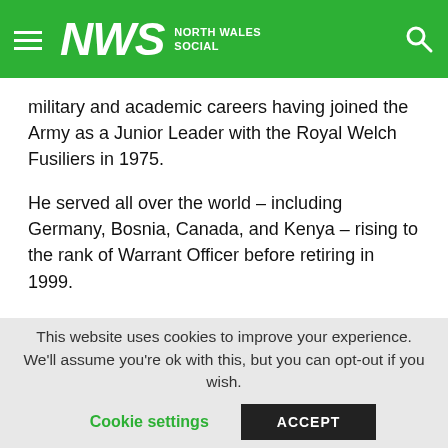NWS North Wales Social
military and academic careers having joined the Army as a Junior Leader with the Royal Welch Fusiliers in 1975.
He served all over the world – including Germany, Bosnia, Canada, and Kenya – rising to the rank of Warrant Officer before retiring in 1999.
His great passion became helping young people to become the best they can be physically and mentally, whatever their background, a trait which led to Cambria's DofE provision becoming one of the best in the country, attracting 20 times more participants than it had before his arrival.
This website uses cookies to improve your experience. We'll assume you're ok with this, but you can opt-out if you wish.
Cookie settings   ACCEPT